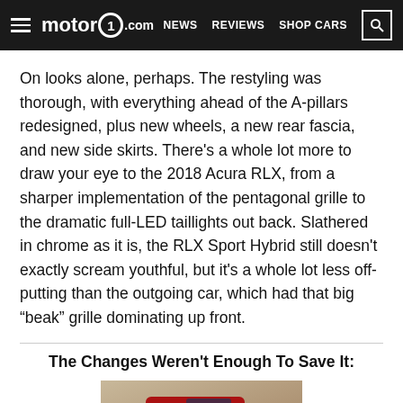motor1.com | NEWS | REVIEWS | SHOP CARS
On looks alone, perhaps. The restyling was thorough, with everything ahead of the A-pillars redesigned, plus new wheels, a new rear fascia, and new side skirts. There's a whole lot more to draw your eye to the 2018 Acura RLX, from a sharper implementation of the pentagonal grille to the dramatic full-LED taillights out back. Slathered in chrome as it is, the RLX Sport Hybrid still doesn't exactly scream youthful, but it's a whole lot less off-putting than the outgoing car, which had that big “beak” grille dominating up front.
The Changes Weren't Enough To Save It:
[Figure (photo): Front view of a red Acura RLX Sport Hybrid car on a road]